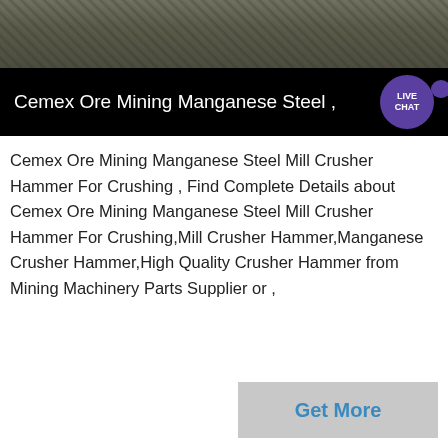[Figure (photo): Top photograph of a mining/construction site with rocky terrain, muted earth tones]
Cemex Ore Mining Manganese Steel ,
Cemex Ore Mining Manganese Steel Mill Crusher Hammer For Crushing , Find Complete Details about Cemex Ore Mining Manganese Steel Mill Crusher Hammer For Crushing,Mill Crusher Hammer,Manganese Crusher Hammer,High Quality Crusher Hammer from Mining Machinery Parts Supplier or ,
[Figure (photo): Bottom photograph showing a foggy or misty industrial landscape, very light grey tones]